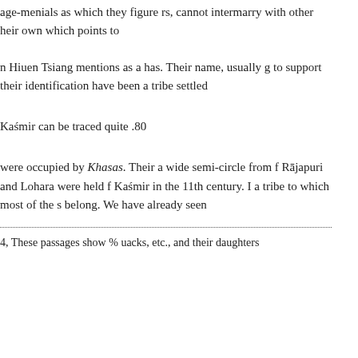age-menials as which they figure rs, cannot intermarry with other heir own which points to
n Hiuen Tsiang mentions as a has. Their name, usually g to support their identification have been a tribe settled
Kaśmir can be traced quite .80
were occupied by Khasas. Their a wide semi-circle from f Rājapuri and Lohara were held f Kaśmir in the 11th century. I a tribe to which most of the s belong. We have already seen
4, These passages show % uacks, etc., and their daughters